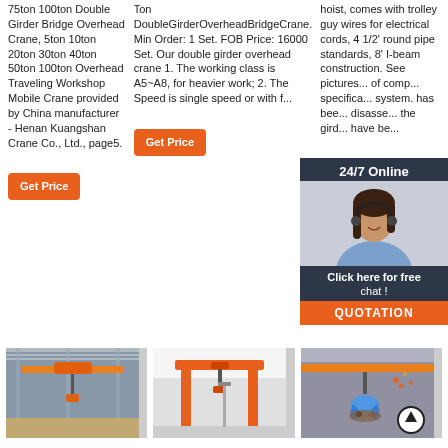75ton 100ton Double Girder Bridge Overhead Crane, 5ton 10ton 20ton 30ton 40ton 50ton 100ton Overhead Traveling Workshop Mobile Crane provided by China manufacturer - Henan Kuangshan Crane Co., Ltd., page5.
Ton DoubleGirderOverheadBridgeCrane. Min Order: 1 Set. FOB Price: 16000 Set. Our double girder overhead crane 1. The working class is A5~A8, for heavier work; 2. The Speed is single speed or with f...
hoist, comes with trolley guy wires for electrical cords, 4 1/2' round pipe standards, 8' I-beam construction. See pictures... of comp... specifica... system. has bee... disasse... the gird... have be...
[Figure (other): 24/7 Online chat overlay with customer service representative photo and QUOTATION button]
Get Price
Get Price
Get Price
[Figure (photo): Interior of a workshop with overhead bridge crane, orange colored crane visible on ceiling rails]
[Figure (photo): Gantry crane with orange frame structure outdoors near a building]
[Figure (photo): Workshop crane with grab bucket attachment, orange crane structure visible]